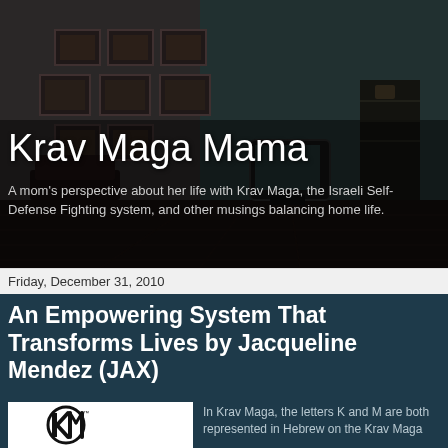[Figure (photo): Dark moody interior room with framed pictures on wall, old television, wooden floor, and teal-toned walls serving as blog header background image]
Krav Maga Mama
A mom's perspective about her life with Krav Maga, the Israeli Self-Defense Fighting system, and other musings balancing home life.
Friday, December 31, 2010
An Empowering System That Transforms Lives by Jacqueline Mendez (JAX)
[Figure (logo): Krav Maga logo - black circle with stylized KM letters, trademark symbol]
In Krav Maga, the letters K and M are both represented in Hebrew on the Krav Maga